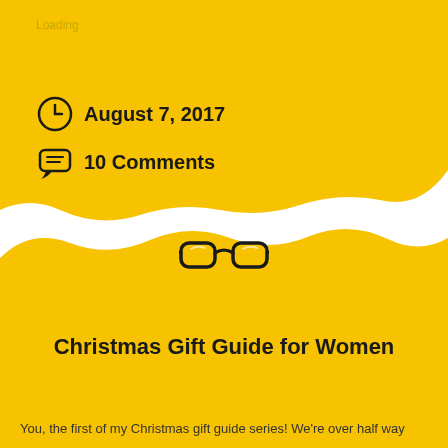Loading
August 7, 2017
10 Comments
Categories: personal
Tags: health, life, personal, ramblings, real life, women
Christmas Gift Guide for Women
You, the first of my Christmas gift guide series! We're over half way...